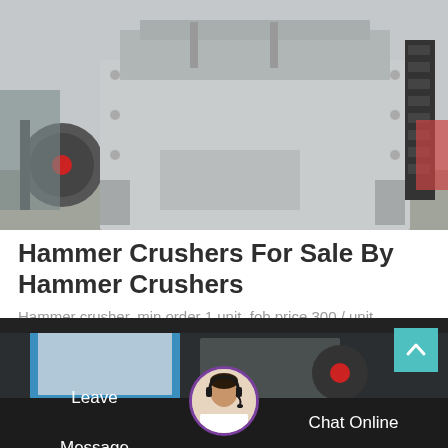[Figure (photo): Industrial hammer crusher machine painted grey/light gray, photographed outdoors in a yard with other machinery visible in the background.]
Hammer Crushers For Sale By Hammer Crushers
Hammer crusher. min order 1 unit. fob price 300 / unit. hammer crusher also called hammer mill crushes by...
[Figure (photo): Bottom banner showing a partial repeat of the hammer crusher image alongside industrial machinery, with a customer service avatar and navigation bar.]